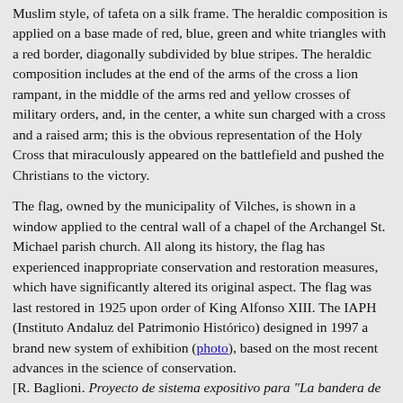Muslim style, of tafeta on a silk frame. The heraldic composition is applied on a base made of red, blue, green and white triangles with a red border, diagonally subdivided by blue stripes. The heraldic composition includes at the end of the arms of the cross a lion rampant, in the middle of the arms red and yellow crosses of military orders, and, in the center, a white sun charged with a cross and a raised arm; this is the obvious representation of the Holy Cross that miraculously appeared on the battlefield and pushed the Christians to the victory.
The flag, owned by the municipality of Vilches, is shown in a window applied to the central wall of a chapel of the Archangel St. Michael parish church. All along its history, the flag has experienced inappropriate conservation and restoration measures, which have significantly altered its original aspect. The flag was last restored in 1925 upon order of King Alfonso XIII. The IAPH (Instituto Andaluz del Patrimonio Histórico) designed in 1997 a brand new system of exhibition (photo), based on the most recent advances in the science of conservation. [R. Baglioni. Proyecto de sistema expositivo para "La bandera de la batalla de las Navas de Tolosa" - Vilches, Jaén. PH: Boletín del Instituto Andaluz del Patrimonio Histórico, 1997, 19, 66-71]
Ivan Sache, 29 June 2009